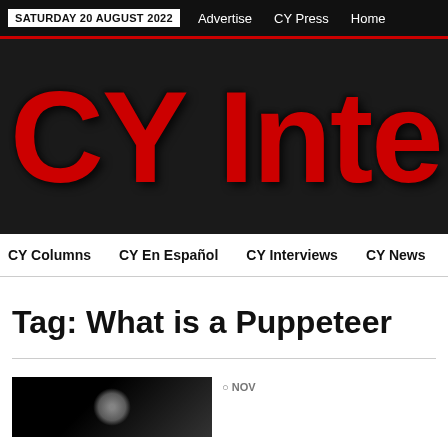SATURDAY 20 AUGUST 2022  Advertise  CY Press  Home
CY Inte
CY Columns  CY En Español  CY Interviews  CY News  CY V
Tag: What is a Puppeteer
[Figure (photo): Dark image, partially visible at bottom of page, with circular light element]
NOV